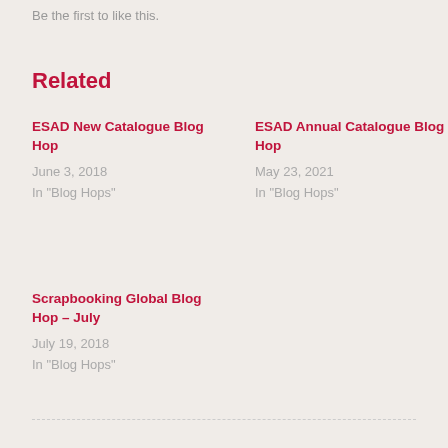Be the first to like this.
Related
ESAD New Catalogue Blog Hop
June 3, 2018
In "Blog Hops"
ESAD Annual Catalogue Blog Hop
May 23, 2021
In "Blog Hops"
Scrapbooking Global Blog Hop – July
July 19, 2018
In "Blog Hops"